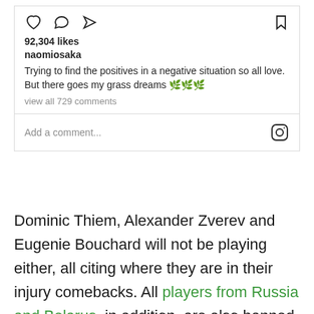[Figure (screenshot): Instagram post card showing action icons (heart, comment, share, bookmark), like count, username, caption text, and comment input bar]
92,304 likes
naomiosaka
Trying to find the positives in a negative situation so all love. But there goes my grass dreams 🌿🌿🌿
view all 729 comments
Add a comment...
Dominic Thiem, Alexander Zverev and Eugenie Bouchard will not be playing either, all citing where they are in their injury comebacks. All players from Russia and Belarus, in addition, are also banned from